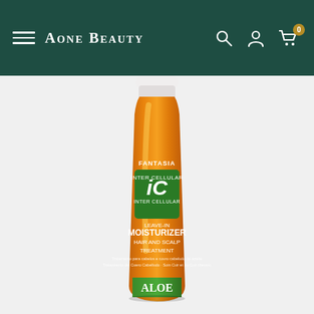Aone Beauty — navigation bar with hamburger menu, search, account, and cart icons
[Figure (photo): Fantasia IC Inter Cellular Leave-In Moisturizer Hair and Scalp Treatment bottle with Aloe, in an amber/orange bottle with white cap, green label badge, photographed on white/light background]